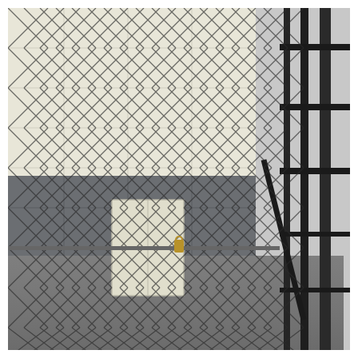[Figure (photo): Interior photograph of a secured enclosure or holding cell viewed through a chain-link fence gate. The background shows tiled walls painted white on top and gray on the bottom wainscoting. The floor is gray concrete. A white rectangular panel or door is visible on the back wall. On the right side are heavy dark metal vertical bars/posts forming the gate frame with chain-link fencing attached. A padlock or latch is visible on the fence rail in the middle of the image.]